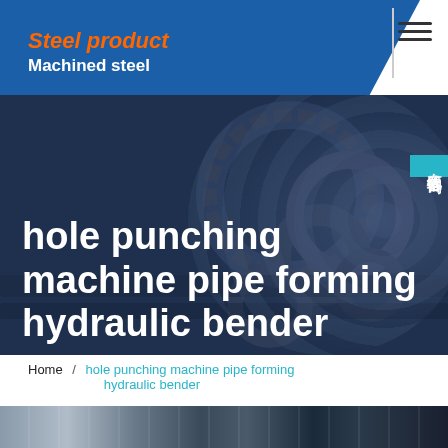Steel product / Machined steel
hole punching machine pipe forming hydraulic bender
Home / hole punching machine pipe forming hydraulic bender
[Figure (photo): Dark blue industrial background with machinery gears and pipes, partially visible at right side of hero section]
[Figure (photo): Bottom strip showing industrial steel machinery/equipment in dark tones]